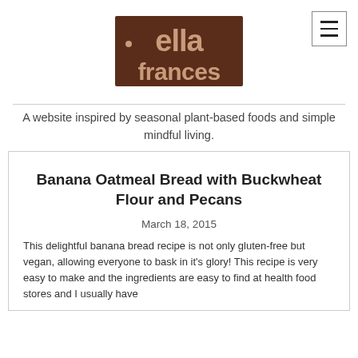[Figure (logo): ella frances website logo with stylized tan/brown text on dark brown rectangle background]
A website inspired by seasonal plant-based foods and simple mindful living.
Banana Oatmeal Bread with Buckwheat Flour and Pecans
March 18, 2015
This delightful banana bread recipe is not only gluten-free but vegan, allowing everyone to bask in it's glory! This recipe is very easy to make and the ingredients are easy to find at health food stores and I usually have them all on hand. It's never a matter of substitution for this...